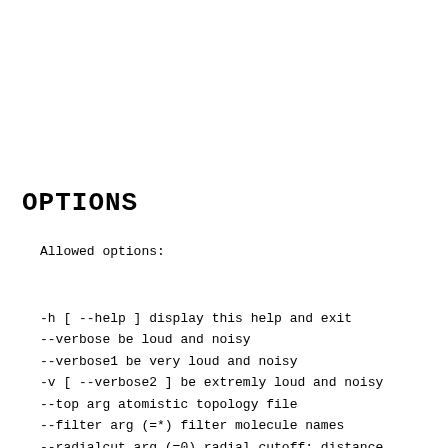OPTIONS
Allowed options:
-h [ --help ] display this help and exit
--verbose be loud and noisy
--verbose1 be very loud and noisy
-v [ --verbose2 ] be extremly loud and noisy
--top arg atomistic topology file
--filter arg (=*) filter molecule names
--radialcut arg (=0) radial cutoff: distance from center where bead is